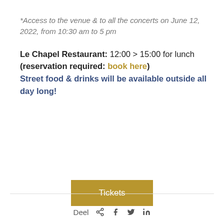*Access to the venue & to all the concerts on June 12, 2022, from 10:30 am to 5 pm
Le Chapel Restaurant: 12:00 > 15:00 for lunch (reservation required: book here) Street food & drinks will be available outside all day long!
[Figure (other): Gold/tan colored button labeled 'Tickets']
Deel  < share icon >  f  Twitter  in